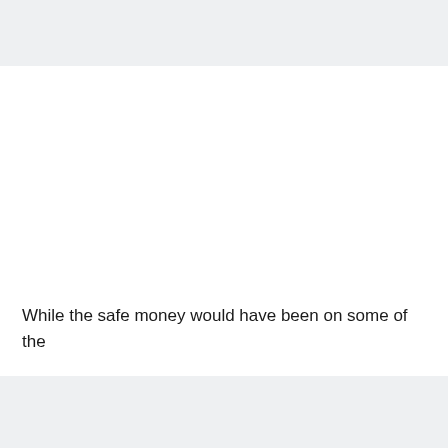While the safe money would have been on some of the